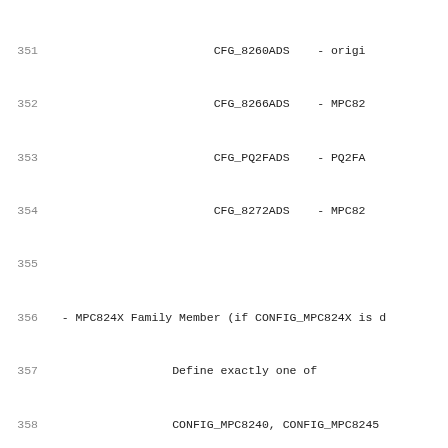351   CFG_8260ADS    - origi
352   CFG_8266ADS    - MPC82
353   CFG_PQ2FADS    - PQ2FA
354   CFG_8272ADS    - MPC82
355
356   - MPC824X Family Member (if CONFIG_MPC824X is d
357           Define exactly one of
358           CONFIG_MPC8240, CONFIG_MPC8245
359
360   - 8xx CPU Options: (if using an MPC8xx cpu)
361           CONFIG_8xx_GCLK_FREQ    - depre
362                                    get_g
363                                    e.g.
364                                    refer
365           CONFIG_8xx_OSCLK        - PLL i
366                                    or XT
367
368   - 859/866/885 CPU options: (if using a MPC859 o
369           CFG_8xx_CPUCLK_MIN
370           CFG_8xx_CPUCLK_MAX
371           CONFIG_8xx_CPUCLK_DEFAULT